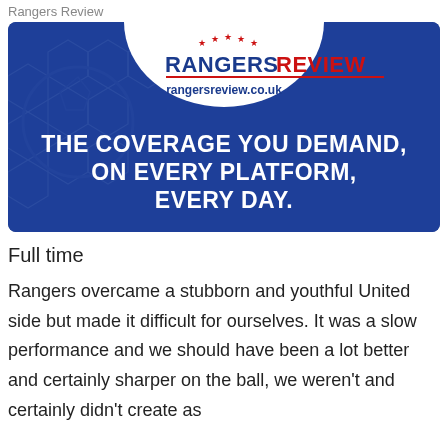Rangers Review
[Figure (illustration): Rangers Review advertisement banner on blue background with white circle logo at top center showing 'RANGERSREVIEW' with red stars and URL 'rangersreview.co.uk', and white bold text reading 'THE COVERAGE YOU DEMAND, ON EVERY PLATFORM, EVERY DAY.']
Full time
Rangers overcame a stubborn and youthful United side but made it difficult for ourselves. It was a slow performance and we should have been a lot better and certainly sharper on the ball, we weren't and certainly didn't create as